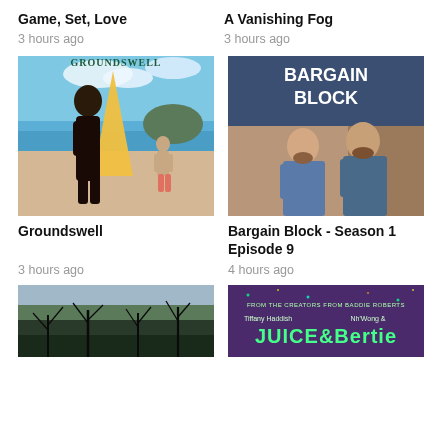Game, Set, Love
A Vanishing Fog
3 hours ago
3 hours ago
[Figure (photo): Groundswell movie poster showing a woman on a beach holding a yellow surfboard with a man in the background]
[Figure (photo): Bargain Block Season 1 Episode 9 poster showing two men standing together indoors]
Groundswell
Bargain Block - Season 1 Episode 9
3 hours ago
4 hours ago
[Figure (photo): Thumbnail showing bare winter trees with grey sky]
[Figure (photo): Thumbnail for Juice & Bertie showing colorful title card with Tiffany Haddish]